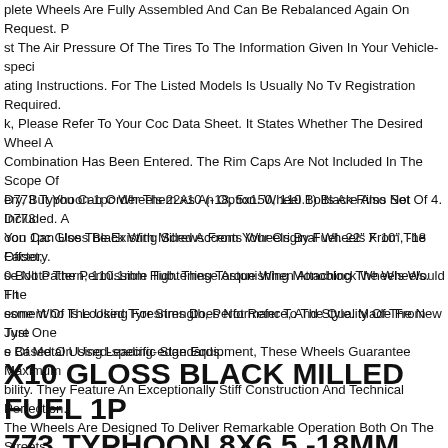plete Wheels Are Fully Assembled And Can Be Rebalanced Again On Request. Please Adjust The Air Pressure Of The Tires To The Information Given In Your Vehicle-specific Operating Instructions. For The Listed Models Is Usually No Tv Registration Required. Check, Please Refer To Your Coc Data Sheet. It States Whether The Desired Wheel And Tire Combination Has Been Entered. The Rim Caps Are Not Included In The Scope Of Delivery, But You Can Order Them As An Option. Wheel Bolts Are Also Not Included. Alternatively, You Can Use The Existing Screws From Your Original Wheels From The Factory. Please Note The Permissible Tightening Torque When Attaching The Wheels. The Assessment Of The Used Tyresrims Does Not Refer To The Quality Of The New Tyres Based On Used-specific Standards.
D773 Typhoon 1pc Wheels 22x10 (-18, 5x150, 110.1) Black Rims Set Of 4. D773 Typhoon 1pc Gloss Black With Milled Accents Wheels By Fuel. 22" X 10", -18 Offset, 5x150 Bolt Pattern, 110.1mm Hub. These Astonishing Monoblock Wheels Would Fit Everyone Who Is Looking For Strength, Performance, And Style. Made From Just One Piece Of Metal Using Leading-edge Equipment, These Wheels Guarantee Maximum Durability. They Feature An Exceptionally Stiff Construction And Technical Perfection. The Wheels Are Designed To Deliver Remarkable Operation Both On The Streets.
X10 GLOSS BLACK MILLED FUEL 1PC D773 TYPHOON 8X6.5 -18MM SET OF 4